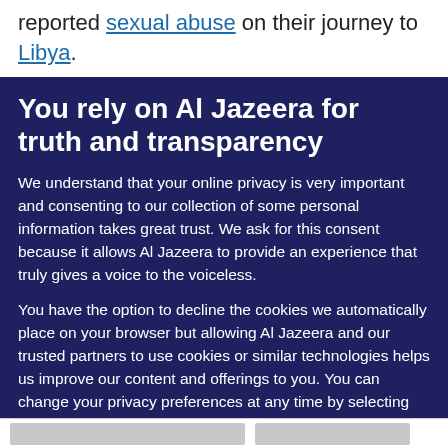reported sexual abuse on their journey to Libya.
You rely on Al Jazeera for truth and transparency
We understand that your online privacy is very important and consenting to our collection of some personal information takes great trust. We ask for this consent because it allows Al Jazeera to provide an experience that truly gives a voice to the voiceless.
You have the option to decline the cookies we automatically place on your browser but allowing Al Jazeera and our trusted partners to use cookies or similar technologies helps us improve our content and offerings to you. You can change your privacy preferences at any time by selecting 'Cookie preferences' at the bottom of your screen. To learn more, please view our Cookie Policy.